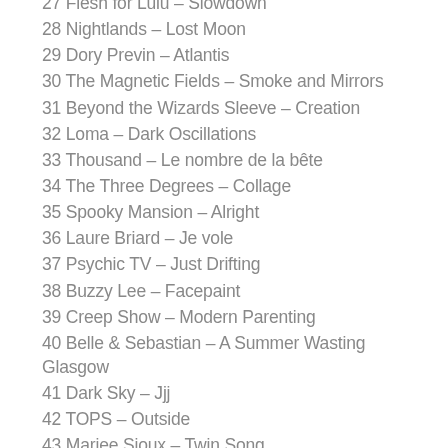27 Flesh for Lulu – Slowdown
28 Nightlands – Lost Moon
29 Dory Previn – Atlantis
30 The Magnetic Fields – Smoke and Mirrors
31 Beyond the Wizards Sleeve – Creation
32 Loma – Dark Oscillations
33 Thousand – Le nombre de la bête
34 The Three Degrees – Collage
35 Spooky Mansion – Alright
36 Laure Briard – Je vole
37 Psychic TV – Just Drifting
38 Buzzy Lee – Facepaint
39 Creep Show – Modern Parenting
40 Belle & Sebastian – A Summer Wasting Glasgow
41 Dark Sky – Jjj
42 TOPS – Outside
43 Mariee Sioux – Twin Song
44 Tintura – Sönum